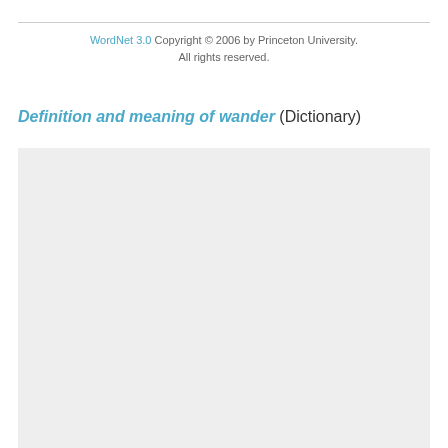WordNet 3.0 Copyright © 2006 by Princeton University. All rights reserved.
Definition and meaning of wander (Dictionary)